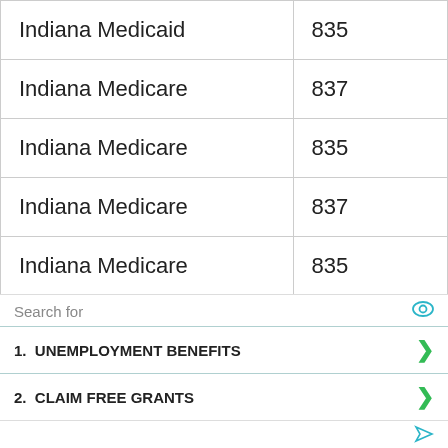| Indiana Medicaid | 835 |
| Indiana Medicare | 837 |
| Indiana Medicare | 835 |
| Indiana Medicare | 837 |
| Indiana Medicare | 835 |
| Indiana ProHealth aka Community Health Network | 837 |
| Indiana ProHealth aka | 835 |